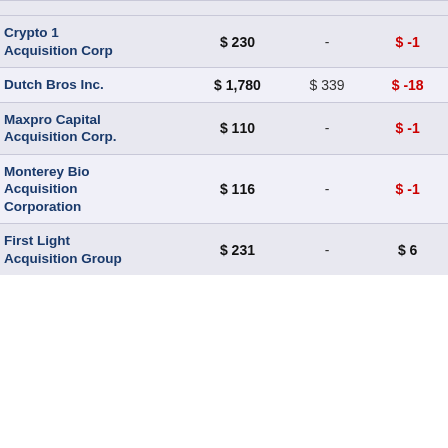| Company | Column2 | Column3 | Column4 |
| --- | --- | --- | --- |
| Crypto 1 Acquisition Corp | $ 230 | - | $ -1 |
| Dutch Bros Inc. | $ 1,780 | $ 339 | $ -18 |
| Maxpro Capital Acquisition Corp. | $ 110 | - | $ -1 |
| Monterey Bio Acquisition Corporation | $ 116 | - | $ -1 |
| First Light Acquisition Group | $ 231 | - | $ 6 |